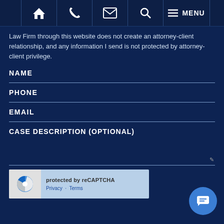[Figure (screenshot): Navigation bar with home, phone, email, search icons and MENU text]
Law Firm through this website does not create an attorney-client relationship, and any information I send is not protected by attorney-client privilege.
NAME
PHONE
EMAIL
CASE DESCRIPTION (OPTIONAL)
[Figure (screenshot): reCAPTCHA widget showing logo, 'protected by reCAPTCHA', Privacy and Terms links]
[Figure (screenshot): Blue circular chat button with message icon]